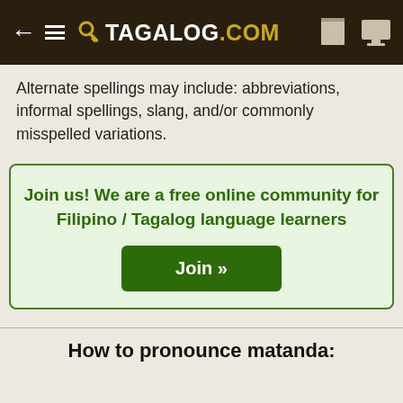TAGALOG.COM
Alternate spellings may include: abbreviations, informal spellings, slang, and/or commonly misspelled variations.
Join us! We are a free online community for Filipino / Tagalog language learners
Join »
How to pronounce matanda: